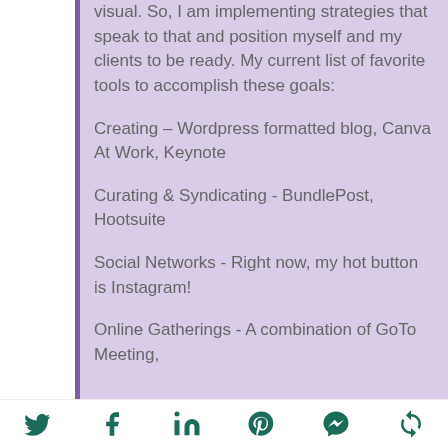visual. So, I am implementing strategies that speak to that and position myself and my clients to be ready. My current list of favorite tools to accomplish these goals:
Creating - Wordpress formatted blog, Canva At Work, Keynote
Curating & Syndicating - BundlePost, Hootsuite
Social Networks - Right now, my hot button is Instagram!
Online Gatherings - A combination of GoTo Meeting,
Social share icons: Twitter, Facebook, LinkedIn, Pinterest, Messenger, Share